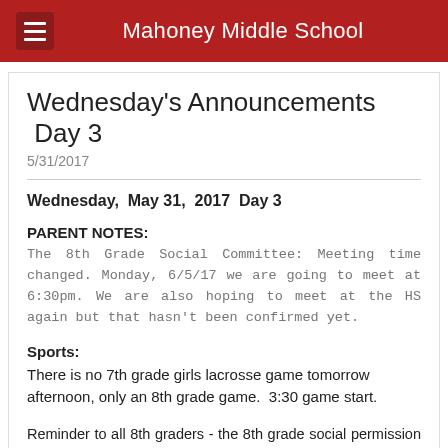Mahoney Middle School
Wednesday's Announcements  Day 3
5/31/2017
Wednesday,  May 31,  2017  Day 3
PARENT NOTES:
The 8th Grade Social Committee: Meeting time changed.  Monday, 6/5/17 we are going to meet at 6:30pm. We are also hoping to meet at the HS again but that hasn't been confirmed yet.
Sports:
There is no 7th grade girls lacrosse game tomorrow afternoon, only an 8th grade game.  3:30 game start.
Reminder to all 8th graders - the 8th grade social permission slip is available in the office. Please pick one up before or after